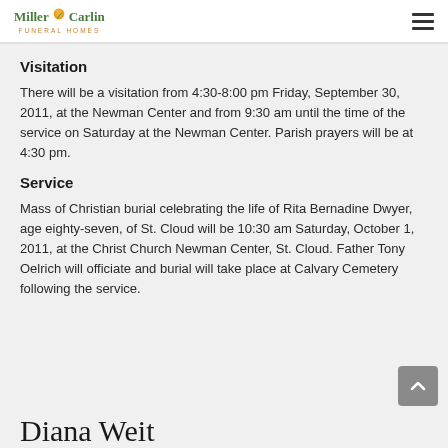Miller-Carlin Funeral Homes
Visitation
There will be a visitation from 4:30-8:00 pm Friday, September 30, 2011, at the Newman Center and from 9:30 am until the time of the service on Saturday at the Newman Center. Parish prayers will be at 4:30 pm.
Service
Mass of Christian burial celebrating the life of Rita Bernadine Dwyer, age eighty-seven, of St. Cloud will be 10:30 am Saturday, October 1, 2011, at the Christ Church Newman Center, St. Cloud. Father Tony Oelrich will officiate and burial will take place at Calvary Cemetery following the service.
Diana Weit